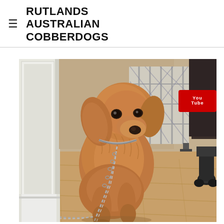RUTLANDS AUSTRALIAN COBBERDOGS
[Figure (photo): A fluffy golden/caramel coloured Australian Cobberdog puppy sitting on a wooden floor, wearing a silver chain leash, positioned in a doorway with a white door frame on the left, a white security gate in the background, and a chair with wheels visible on the right side.]